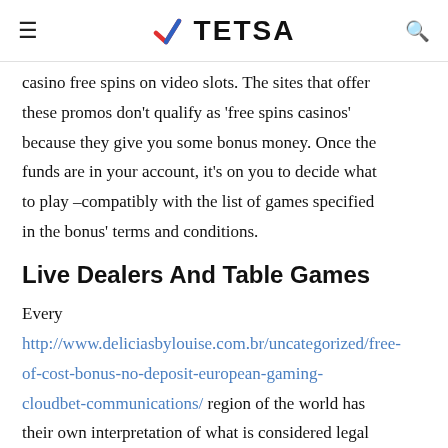TETSA
casino free spins on video slots. The sites that offer these promos don't qualify as 'free spins casinos' because they give you some bonus money. Once the funds are in your account, it's on you to decide what to play –compatibly with the list of games specified in the bonus' terms and conditions.
Live Dealers And Table Games
Every http://www.deliciasbylouise.com.br/uncategorized/free-of-cost-bonus-no-deposit-european-gaming-cloudbet-communications/ region of the world has their own interpretation of what is considered legal real money online gambling. In addition, there is no need to be so skeptical about incredibly attractive promotions that are offered by new casinos on a regular